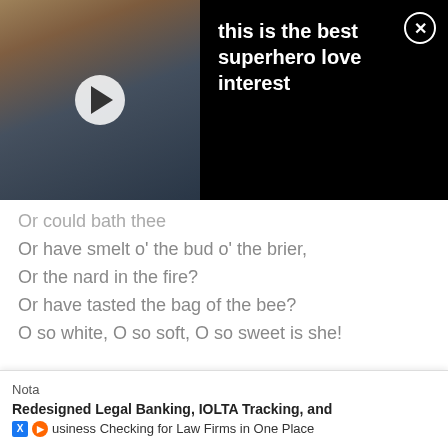[Figure (screenshot): Video thumbnail with play button showing a person with blonde hair against a dark background, with black panel on right showing title text 'this is the best superhero love interest' and a close (X) button]
Or have smelt o' the bud o' the brier,
Or the nard in the fire?
Or have tasted the bag of the bee?
O so white, O so soft, O so sweet is she!
I was so tempted to quote Jonson's famous Song : To Celia, which includes the famous line "Drink to me only with thine eyes", but this lesser known example of his work is typical of his lyricism. It was published as one of ten linked pieces in 1623. A friend of William Shakespeare, Jonson was a complex character; he apparently liked an argument and could be arrogant, but was also noted for his se... but still pr...
Nota
Redesigned Legal Banking, IOLTA Tracking, and
Business Checking for Law Firms in One Place